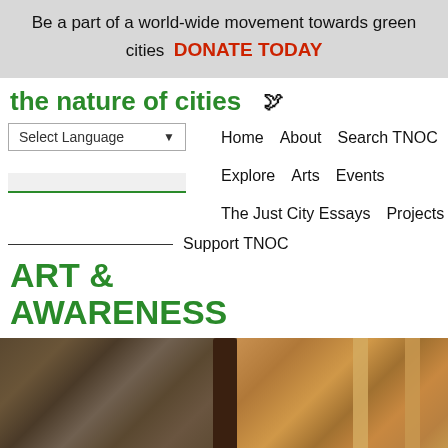Be a part of a world-wide movement towards green cities   DONATE TODAY
the nature of cities
Select Language   Home   About   Search TNOC   Explore   Arts   Events   The Just City Essays   Projects   Support TNOC
ART & AWARENESS
[Figure (photo): Outdoor nature scene showing a tree trunk base surrounded by fallen autumn leaves on a stone path, with wooden posts visible on the right side]